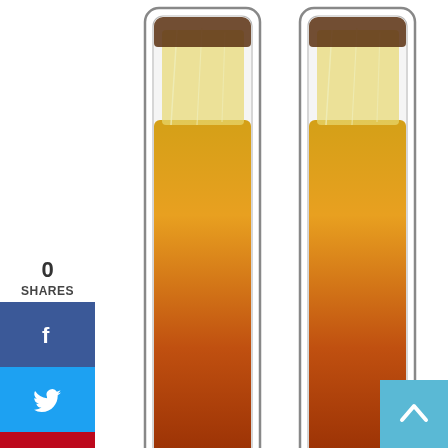[Figure (photo): Two tall double-walled iced tea/beer glasses filled with an amber/orange beverage and ice cubes, shown side by side on a white background.]
0
SHARES
[Figure (infographic): Social sharing sidebar with Facebook (blue), Twitter (light blue), Pinterest (red), and LinkedIn (dark blue) buttons showing icons f, bird, P, in respectively.]
Shop now at Amazon
When it comes to glasses, people want to prioritize the durability! Therefore, not like any other fragile glasses which is damageable, Sun's Tea Double-walled Beer Glass owns the excessive double –walled construction.